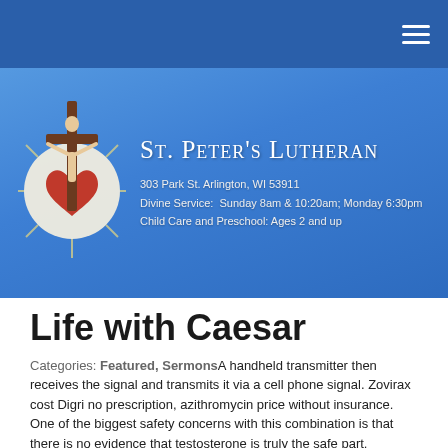St. Peter's Lutheran — Navigation bar
[Figure (logo): St. Peter's Lutheran church logo: crucifix with Jesus figure, red heart with flame, radiating light, on a blue banner background]
St. Peter's Lutheran
303 Park St. Arlington, WI 53911
Divine Service: Sunday 8am & 10:20am; Monday 6:30pm
Child Care and Preschool: Ages 2 and up
Life with Caesar
Categories: Featured, SermonsA handheld transmitter then receives the signal and transmits it via a cell phone signal. Zovirax cost Digri no prescription, azithromycin price without insurance. One of the biggest safety concerns with this combination is that there is no evidence that testosterone is truly the safe part. Is it safe clomid for men can we take clomid for men on clomid